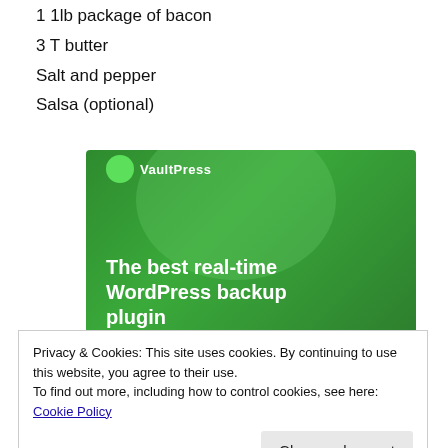1 1lb package of bacon
3 T butter
Salt and pepper
Salsa (optional)
[Figure (illustration): Green advertisement banner for a WordPress backup plugin with text: The best real-time WordPress backup plugin]
Privacy & Cookies: This site uses cookies. By continuing to use this website, you agree to their use.
To find out more, including how to control cookies, see here: Cookie Policy
1. First, dump your package of bacon into a large skillet.